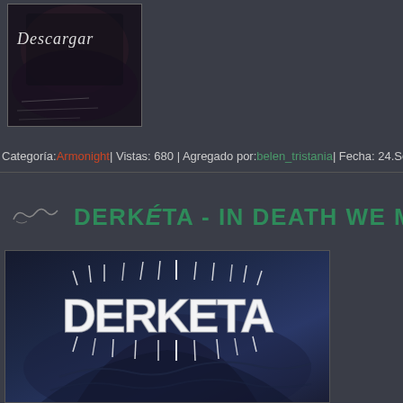[Figure (photo): Album thumbnail with Descargar overlay text, dark background with handwritten text]
Categoría: Armonight | Vistas: 680 | Agregado por: belen_tristania | Fecha: 24.Sep.2...
DERKÉTA - IN DEATH WE M...
[Figure (photo): Derketa band album art - dark blue background with spiky white band logo lettering]